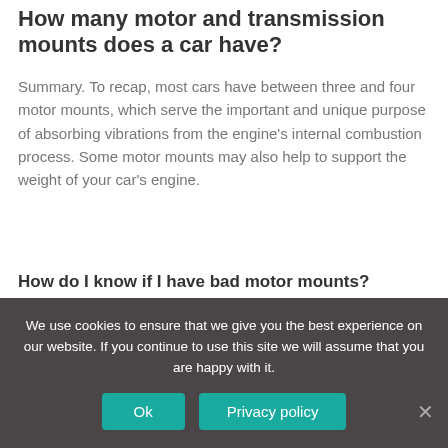How many motor and transmission mounts does a car have?
Summary. To recap, most cars have between three and four motor mounts, which serve the important and unique purpose of absorbing vibrations from the engine's internal combustion process. Some motor mounts may also help to support the weight of your car's engine.
How do I know if I have bad motor mounts?
5 Signs You Need to Replace Motor Mounts on Your Car:
1. Excess Noise. The most common symptom of
We use cookies to ensure that we give you the best experience on our website. If you continue to use this site we will assume that you are happy with it.